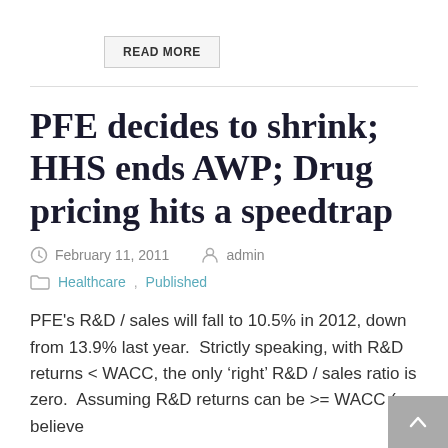READ MORE
PFE decides to shrink; HHS ends AWP; Drug pricing hits a speedtrap
February 11, 2011   admin
Healthcare, Published
PFE's R&D / sales will fall to 10.5% in 2012, down from 13.9% last year.  Strictly speaking, with R&D returns < WACC, the only 'right' R&D / sales ratio is zero.  Assuming R&D returns can be >= WACC (we believe